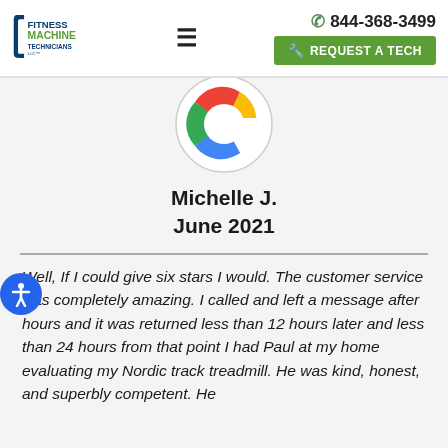[Figure (logo): Fitness Machine Technicians logo with wrench icon and company name]
≡
844-368-3499
REQUEST A TECH
[Figure (logo): Google G logo inside a circle]
Michelle J.
June 2021
Well, If I could give six stars I would. The customer service was completely amazing. I called and left a message after hours and it was returned less than 12 hours later and less than 24 hours from that point I had Paul at my home evaluating my Nordic track treadmill. He was kind, honest, and superbly competent. He